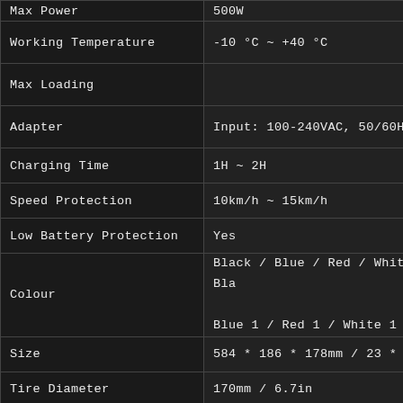| Property | Value |
| --- | --- |
| Max Power | 500W |
| Working Temperature | -10 °C ~ +40 °C |
| Max Loading | 120kg |
| Adapter | Input: 100-240VAC, 50/60Hz, |
| Charging Time | 1H ~ 2H |
| Speed Protection | 10km/h ~ 15km/h |
| Low Battery Protection | Yes |
| Colour | Black / Blue / Red / White / Bla...
Blue 1 / Red 1 / White 1 (optio... |
| Size | 584 * 186 * 178mm / 23 * 7.3... |
| Tire Diameter | 170mm / 6.7in |
| Net Weight | 10kg / 22lb |
| Package Size | 65 * 25 * 25cm / 25.6 * 9.8 * 9... |
| Package Weight | 12.5lb / 3.7lb... |